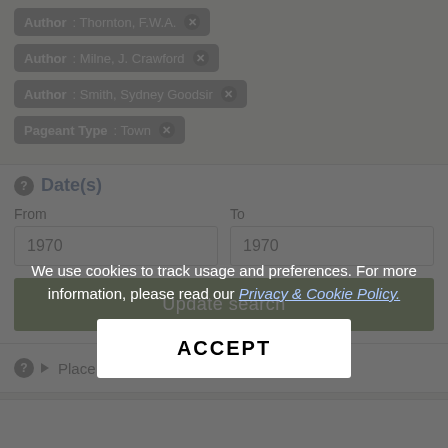Author: Thornton, F.W.A. ✕
Author: Milne, J. Crawford ✕
Author: Smith, Sydney Goodsir ✕
Pageant Type: Town ✕
Date(s)
From
1970
To
1970
Update search
We use cookies to track usage and preferences. For more information, please read our Privacy & Cookie Policy.
ACCEPT
▶ Place